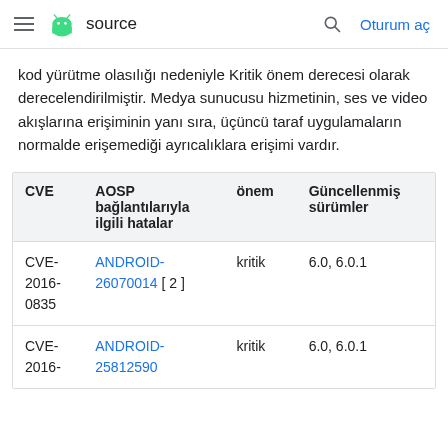≡  source   🔍  Oturum aç
kod yürütme olasılığı nedeniyle Kritik önem derecesi olarak derecelendirilmiştir. Medya sunucusu hizmetinin, ses ve video akışlarına erişiminin yanı sıra, üçüncü taraf uygulamaların normalde erişemediği ayrıcalıklara erişimi vardır.
| CVE | AOSP bağlantılarıyla ilgili hatalar | önem | Güncellenmiş sürümler |
| --- | --- | --- | --- |
| CVE-2016-0835 | ANDROID-26070014 [ 2 ] | kritik | 6.0, 6.0.1 |
| CVE-2016- | ANDROID-25812590 | kritik | 6.0, 6.0.1 |